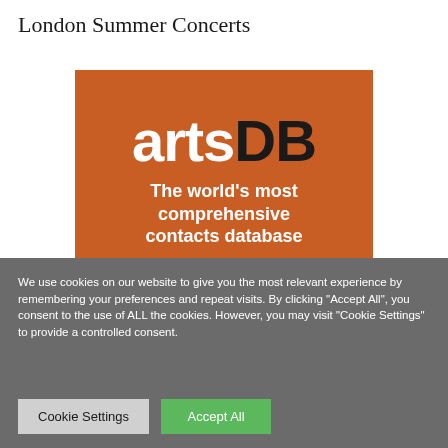London Summer Concerts
[Figure (logo): artsDB logo on orange background with tagline: The world's most comprehensive contacts database]
We use cookies on our website to give you the most relevant experience by remembering your preferences and repeat visits. By clicking "Accept All", you consent to the use of ALL the cookies. However, you may visit "Cookie Settings" to provide a controlled consent.